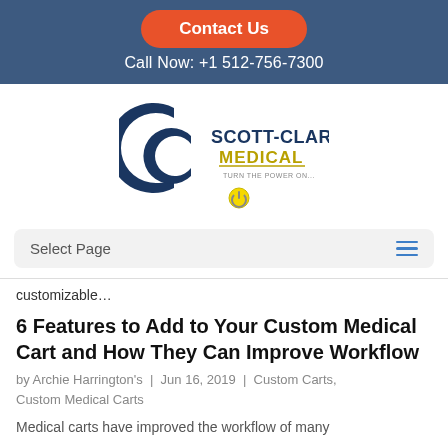Contact Us | Call Now: +1 512-756-7300
[Figure (logo): Scott-Clark Medical logo with CC initials, tagline 'TURN THE POWER ON...' and a yellow power button icon]
Select Page
customizable…
6 Features to Add to Your Custom Medical Cart and How They Can Improve Workflow
by Archie Harrington's | Jun 16, 2019 | Custom Carts, Custom Medical Carts
Medical carts have improved the workflow of many